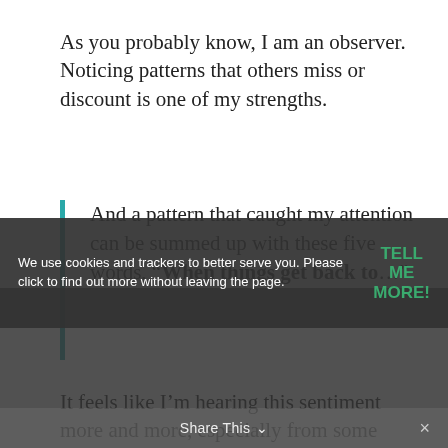As you probably know, I am an observer. Noticing patterns that others miss or discount is one of my strengths.
And a pattern that caught my attention can be summed up with these five words, “When things get back to…”
It feels like I’m hearing this sentiment more and more, especially from some
the 2008 crash and the Great Recession that followed. And…they still haven’t recovered (or not as completely as they’d
We use cookies and trackers to better serve you. Please click to find out more without leaving the page.
TELL ME MORE!
Share This